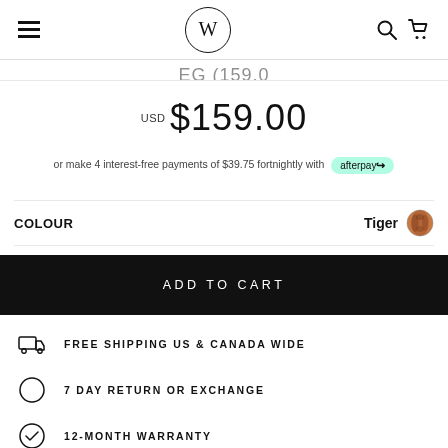W (logo) — navigation header with hamburger menu, search and cart icons
USD $159.00
or make 4 interest-free payments of $39.75 fortnightly with afterpay
COLOUR   Tiger
ADD TO CART
FREE SHIPPING US & CANADA WIDE
7 DAY RETURN OR EXCHANGE
12-MONTH WARRANTY